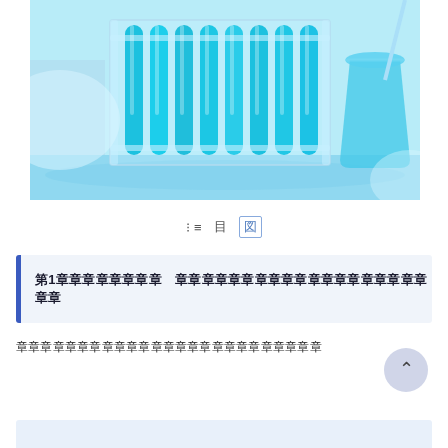[Figure (photo): Laboratory photo showing blue liquid-filled test tubes in a glass rack, with a beaker of blue liquid visible on the right side, set on a light blue laboratory surface.]
≡  目  [図]
第第1章章章章章章章章  章章章章章章章章章章章章章章章章章章章章章
章章章章章章章章章章章章章章章章章章章章章章章章章